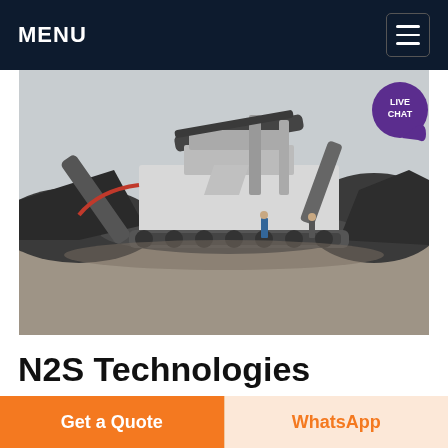MENU
[Figure (photo): Large industrial mobile crushing/screening machine on a gravel/dirt worksite with piles of crushed aggregate material, two workers visible near the machine, overcast sky.]
N2S Technologies
Plastic Crushing Machine and its usage N2S Technologies